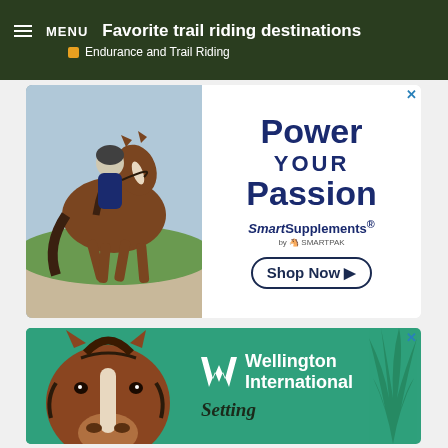MENU | Favorite trail riding destinations | Endurance and Trail Riding
[Figure (photo): Advertisement for SmartSupplements by SmartPak showing a rider on a jumping horse alongside text: Power YOUR Passion, SmartSupplements by SmartPak, Shop Now]
[Figure (photo): Advertisement for Wellington International showing a close-up of a horse's face with text 'Wellington International' and partially visible word 'Setting']